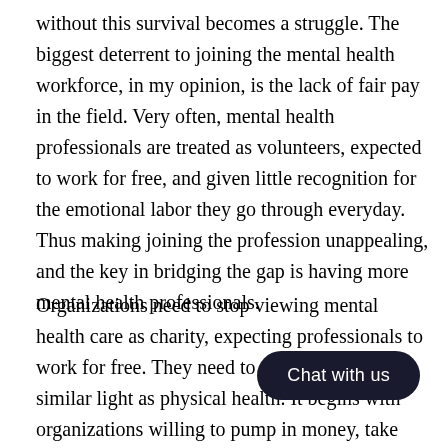without this survival becomes a struggle. The biggest deterrent to joining the mental health workforce, in my opinion, is the lack of fair pay in the field. Very often, mental health professionals are treated as volunteers, expected to work for free, and given little recognition for the emotional labor they go through everyday. Thus making joining the profession unappealing, and the key in bridging the gap is having more mental health professionals.
Organizations need to stop viewing mental health care as charity, expecting professionals to work for free. They need to start viewing it in a similar light as physical health. It begins with organizations willing to pump in money, take risks and create support systems. It als connections need to be built between ch as introducing the element of technology, art and business